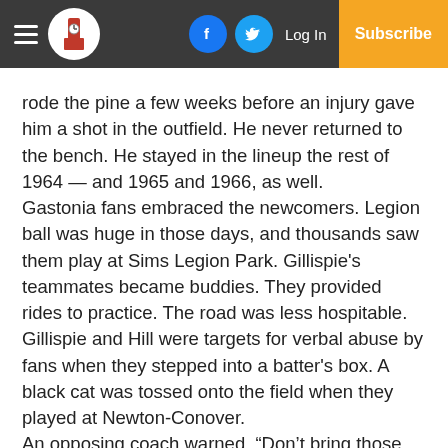Navigation bar with hamburger menu, logo, Facebook icon, Twitter icon, Log In, Subscribe
rode the pine a few weeks before an injury gave him a shot in the outfield. He never returned to the bench. He stayed in the lineup the rest of 1964 — and 1965 and 1966, as well.
Gastonia fans embraced the newcomers. Legion ball was huge in those days, and thousands saw them play at Sims Legion Park. Gillispie's teammates became buddies. They provided rides to practice. The road was less hospitable. Gillispie and Hill were targets for verbal abuse by fans when they stepped into a batter's box. A black cat was tossed onto the field when they played at Newton-Conover.
An opposing coach warned, “Don’t bring those two over here.” But they went, and they pounded the ball.